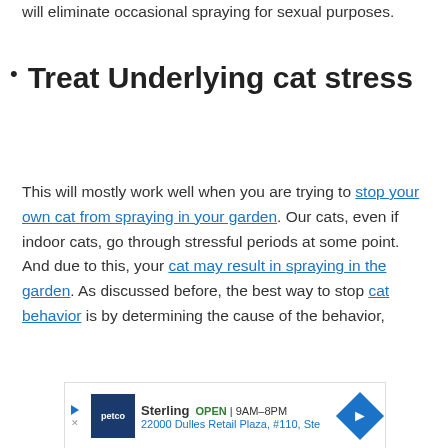will eliminate occasional spraying for sexual purposes.
Treat Underlying cat stress
This will mostly work well when you are trying to stop your own cat from spraying in your garden. Our cats, even if indoor cats, go through stressful periods at some point. And due to this, your cat may result in spraying in the garden. As discussed before, the best way to stop cat behavior is by determining the cause of the behavior,
[Figure (other): Advertisement banner for Petco Sterling store. Shows Petco logo, store name Sterling, OPEN 9AM-8PM, address 22000 Dulles Retail Plaza, #110, Ste, with a blue navigation arrow icon.]